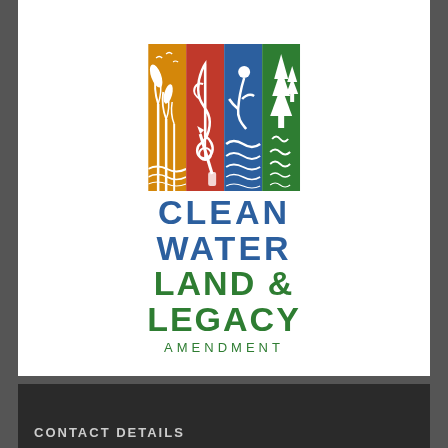[Figure (logo): Clean Water Land & Legacy Amendment logo. Four vertical colored panels (gold with wetland/birds, red with treble clef and paintbrush, blue with water/figure, green with trees/river), with text below reading CLEAN WATER in blue and LAND & LEGACY in green, AMENDMENT in smaller green letters.]
CONTACT DETAILS